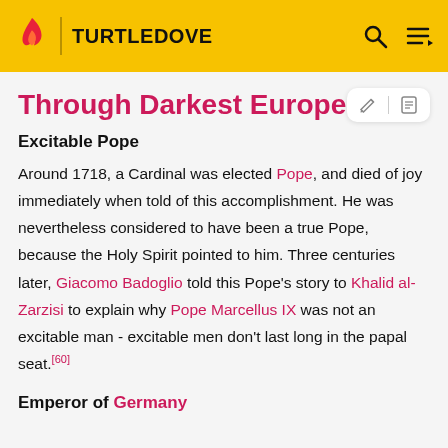TURTLEDOVE
Through Darkest Europe
Excitable Pope
Around 1718, a Cardinal was elected Pope, and died of joy immediately when told of this accomplishment. He was nevertheless considered to have been a true Pope, because the Holy Spirit pointed to him. Three centuries later, Giacomo Badoglio told this Pope's story to Khalid al-Zarzisi to explain why Pope Marcellus IX was not an excitable man - excitable men don't last long in the papal seat.[60]
Emperor of Germany